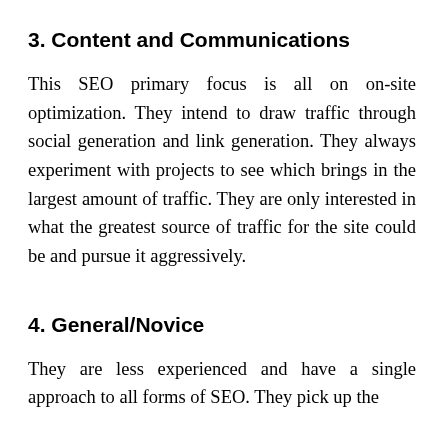3. Content and Communications
This SEO primary focus is all on on-site optimization. They intend to draw traffic through social generation and link generation. They always experiment with projects to see which brings in the largest amount of traffic. They are only interested in what the greatest source of traffic for the site could be and pursue it aggressively.
4. General/Novice
They are less experienced and have a single approach to all forms of SEO. They pick up the